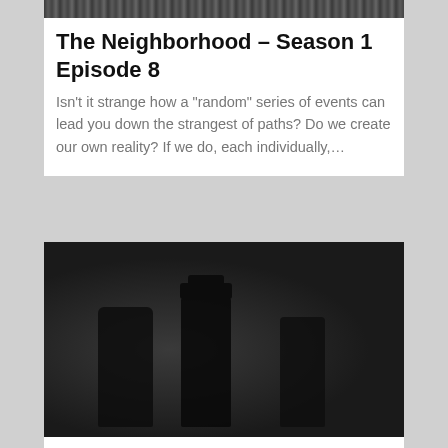[Figure (photo): Black and white grainy image at top of first card]
The Neighborhood – Season 1 Episode 8
Isn't it strange how a “random” series of events can lead you down the strangest of paths? Do we create our own reality? If we do, each individually,…
[Figure (photo): Dark black and white photo showing silhouetted figures, one wearing a hat, in a dim room]
Episode 8 Season/Tell...